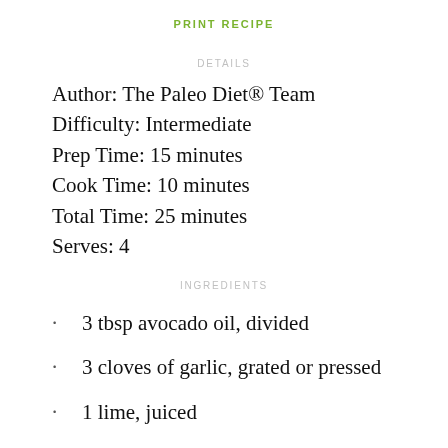PRINT RECIPE
DETAILS
Author: The Paleo Diet® Team
Difficulty: Intermediate
Prep Time: 15 minutes
Cook Time: 10 minutes
Total Time: 25 minutes
Serves: 4
INGREDIENTS
3 tbsp avocado oil, divided
3 cloves of garlic, grated or pressed
1 lime, juiced
¼ cup + 1 tbsp red wine vinegar, divided